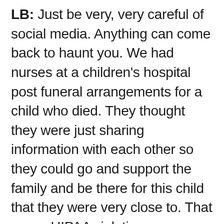LB: Just be very, very careful of social media. Anything can come back to haunt you. We had nurses at a children's hospital post funeral arrangements for a child who died. They thought they were just sharing information with each other so they could go and support the family and be there for this child that they were very close to. That was a HIPAA violation.
DG: Even though it was internal?
LB: No, it was on Facebook.
DG: Oh, it was on Facebook. Yeah, that